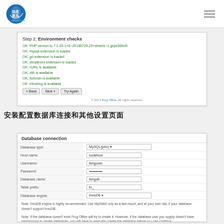teach.imco.me logo and navigation
[Figure (screenshot): Step 2: Environment checks screen showing OK checks for PHP version, mysqli extension, gd extension, simplexml extension, cURL, zlib, suhosin, mbstring. Buttons: Back, Next, Try Again. Copyright Frog Office.]
（中文标题文字，安装步骤相关说明）
[Figure (screenshot): Database connection form with fields: Database type (MySQL), Host name (localhost), Username (fenguser), Password (***********), Database name (fengdb), Table prefix (fo_), Database engine (InnoD8). Notes about InnoDB and permissions. Other settings section with Analytics script URL (http://example.com), Core dimensions checkbox, Plugins to install with Marketplace checkbox.]